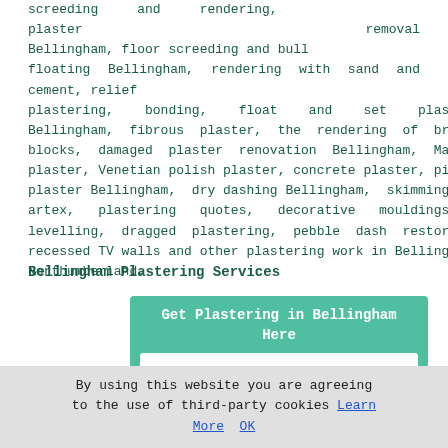screeding and rendering, plaster removal Bellingham, floor screeding and bull floating Bellingham, rendering with sand and cement, relief plastering, bonding, float and set plastering in Bellingham, fibrous plaster, the rendering of breeze blocks, damaged plaster renovation Bellingham, Marmorino plaster, Venetian polish plaster, concrete plaster, pitted plaster Bellingham, dry dashing Bellingham, skimming over artex, plastering quotes, decorative mouldings, floor levelling, dragged plastering, pebble dash restoration, recessed TV walls and other plastering work in Bellingham, Northumberland.
Bellingham Plastering Services
[Figure (screenshot): A widget box with teal/green background titled 'Get Plastering in Bellingham Here', containing a white inner panel with the label 'What service do you need?' and a dropdown selector showing '- Plastering -' with an arrow button.]
By using this website you are agreeing to the use of third-party cookies Learn More  OK